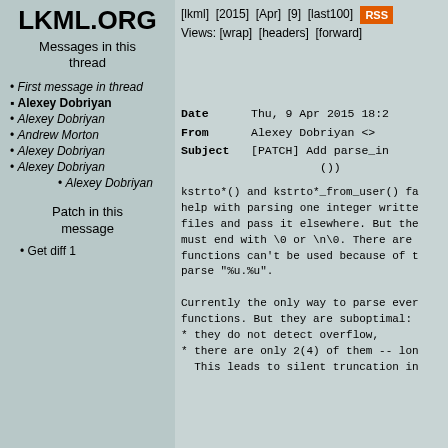LKML.ORG
Messages in this thread
First message in thread
Alexey Dobriyan (bold/current)
Alexey Dobriyan
Andrew Morton
Alexey Dobriyan
Alexey Dobriyan
Alexey Dobriyan
Patch in this message
Get diff 1
[lkml] [2015] [Apr] [9] [last100] RSS Views: [wrap] [headers] [forward]
Date   Thu, 9 Apr 2015 18:2
From   Alexey Dobriyan <>
Subject   [PATCH] Add parse_in
          ())

kstrto*() and kstrto*_from_user() fa
help with parsing one integer writte
files and pass it elsewhere. But the
must end with \0 or \n\0. There are
functions can't be used because of t
parse "%u.%u".

Currently the only way to parse ever
functions. But they are suboptimal:
* they do not detect overflow,
* there are only 2(4) of them -- lon
  This leads to silent truncation in